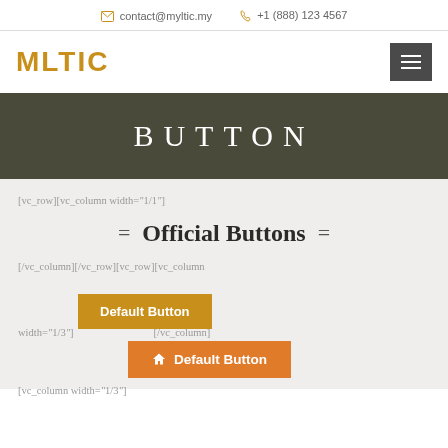contact@myltic.my  +1 (888) 123 4567
[Figure (logo): MLTIC logo in gold/amber color with hamburger menu icon]
BUTTON
[vc_row][vc_column width="1/1"]
= Official Buttons =
[/vc_column][/vc_row][vc_row][vc_column width="1/3"][/vc_column]
[Figure (screenshot): Default Button - gold colored button]
[vc_column width="1/3"]
[Figure (screenshot): Default Button - orange colored button with house icon]
[/vc_column][vc_column width="1/3"]